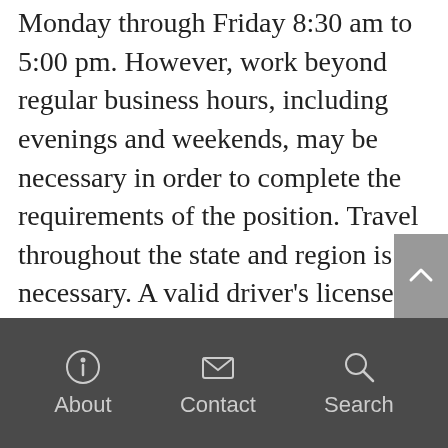Monday through Friday 8:30 am to 5:00 pm. However, work beyond regular business hours, including evenings and weekends, may be necessary in order to complete the requirements of the position. Travel throughout the state and region is necessary. A valid driver's license is required.
The S.C. Sea Grant Consortium is an Equal Opportunity Employer. Employment decisions are made without regard to race, color, religion, national origin, gender, sexual orientation, gender
About  Contact  Search